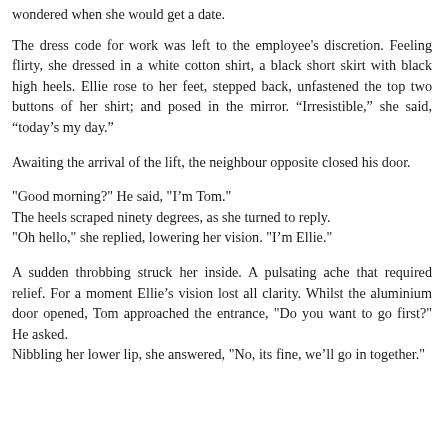wondered when she would get a date.
The dress code for work was left to the employee's discretion. Feeling flirty, she dressed in a white cotton shirt, a black short skirt with black high heels. Ellie rose to her feet, stepped back, unfastened the top two buttons of her shirt; and posed in the mirror. “Irresistible,” she said, “today’s my day.”
Awaiting the arrival of the lift, the neighbour opposite closed his door.
"Good morning?" He said, "I'm Tom."
The heels scraped ninety degrees, as she turned to reply.
"Oh hello," she replied, lowering her vision. "I'm Ellie."
A sudden throbbing struck her inside. A pulsating ache that required relief. For a moment Ellie’s vision lost all clarity. Whilst the aluminium door opened, Tom approached the entrance, "Do you want to go first?" He asked.
Nibbling her lower lip, she answered, "No, its fine, we'll go in together."